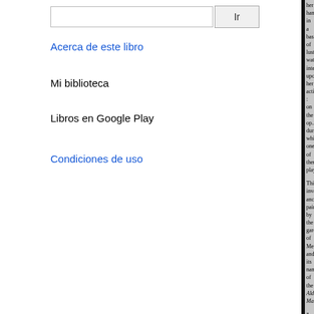Ir
Acerca de este libro
Mi biblioteca
Libros en Google Play
Condiciones de uso
her hand in a basin of lustral wat... intent upon her action : on the op... during which one of them plays
This invaluable ancient painting... by the gardens of Mecænas, and... its name, of the Aldobrandini Ma...
a
[Figure (illustration): Partial view of an illustration or engraving showing botanical or decorative elements, shown in two segments on the right side of the page.]